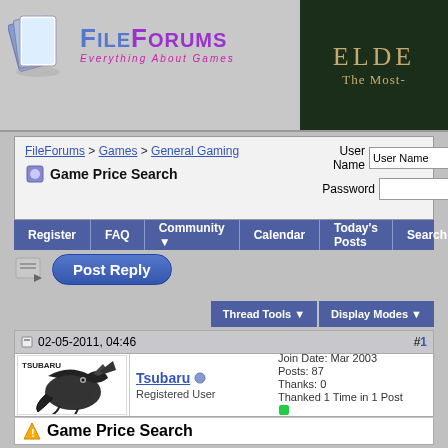[Figure (logo): FileForums logo with playing cards icon and tagline 'Everything About Games']
[Figure (screenshot): Partial advertisement banner - dark green background with gold text 'ELDE' and 'The Most-']
FileForums > Games > General Gaming
Game Price Search
User Name | Password | Remember Me? | Log in
Register   FAQ   Community   Calendar   Today's Posts   Search
Post Reply
Thread Tools   Display Modes
02-05-2011, 04:46   #1
Tsubaru
Registered User
Join Date: Mar 2003
Posts: 87
Thanks: 0
Thanked 1 Time in 1 Post
Game Price Search